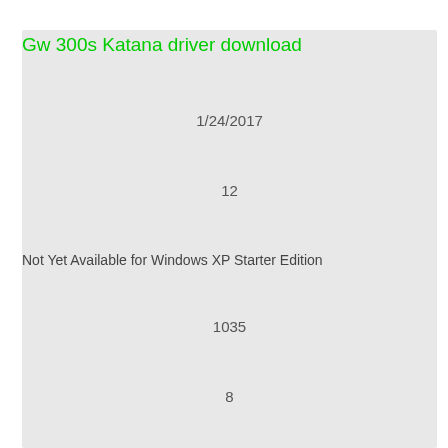Gw 300s Katana driver download
1/24/2017
12
Not Yet Available for Windows XP Starter Edition
1035
8